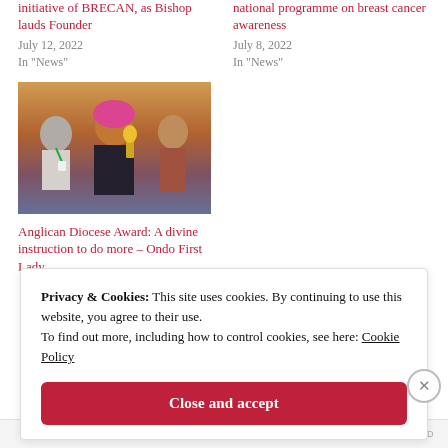initiative of BRECAN, as Bishop lauds Founder
July 12, 2022
In "News"
national programme on breast cancer awareness
July 8, 2022
In "News"
[Figure (photo): Woman in pink head wrap holding a trophy/award, with others beside her at an event.]
Anglican Diocese Award: A divine instruction to do more – Ondo First Lady
Privacy & Cookies: This site uses cookies. By continuing to use this website, you agree to their use.
To find out more, including how to control cookies, see here: Cookie Policy
Close and accept